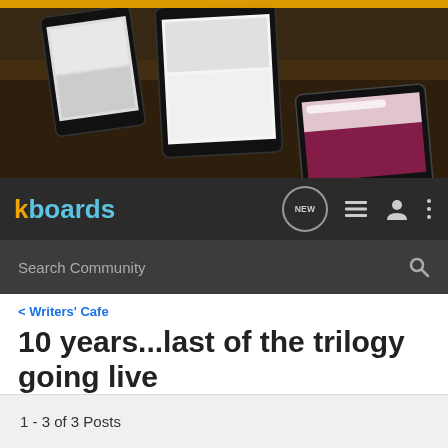[Figure (screenshot): Hero banner image showing Kindle/tablet devices on a wooden surface with dark background]
kboards — NEW (chat icon) (list icon) (person icon) (more icon)
Search Community
< Writers' Cafe
10 years...last of the trilogy going live
→ Jump to Latest
+ Follow
1 - 3 of 3 Posts